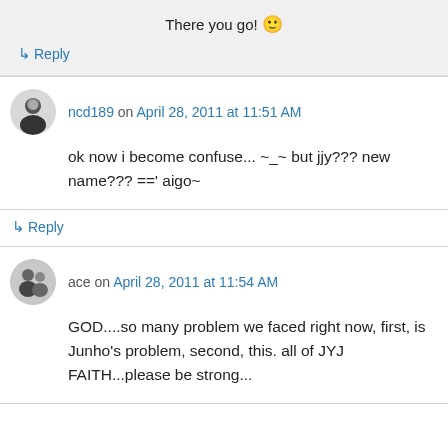There you go! 🙂
↳ Reply
ncd189 on April 28, 2011 at 11:51 AM
ok now i become confuse... ~_~ but jjy??? new name??? ==' aigo~
↳ Reply
ace on April 28, 2011 at 11:54 AM
GOD....so many problem we faced right now, first, is Junho's problem, second, this. all of JYJ FAITH...please be strong...